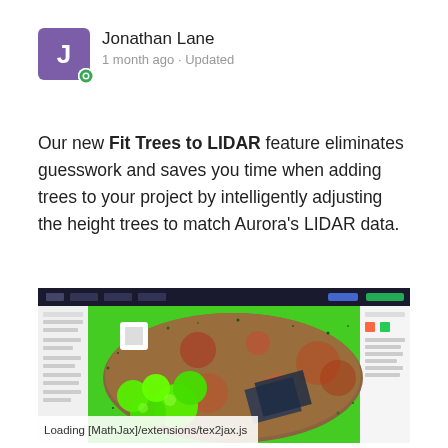Jonathan Lane
1 month ago · Updated
Our new Fit Trees to LIDAR feature eliminates guesswork and saves you time when adding trees to your project by intelligently adjusting the height trees to match Aurora's LIDAR data.
[Figure (screenshot): Screenshot of a GIS/landscaping software showing aerial/LIDAR point cloud data with bright green tree spheres placed on terrain. The interface has a dark top bar, side panel with tools, and a main viewport showing colorful terrain with clustered green spherical tree models.]
Loading [MathJax]/extensions/tex2jax.js